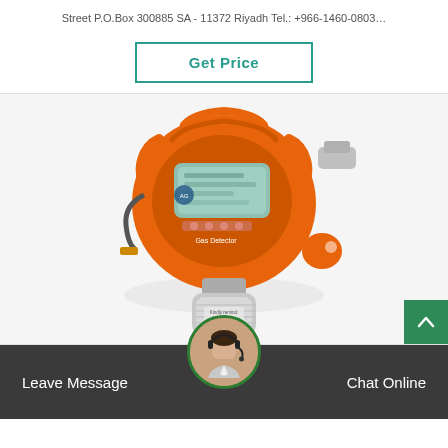Street P.O.Box 300885 SA - 11372 Riyadh Tel.: +966-1460-0803…
Get Price
[Figure (photo): Orange industrial gas detector device with LCD display, control buttons labeled 'Gas Detector', and a silver sensor part at the bottom inscribed 'Kindly remind: Sensor part. Please not rotate.']
Leave Message
Chat Online